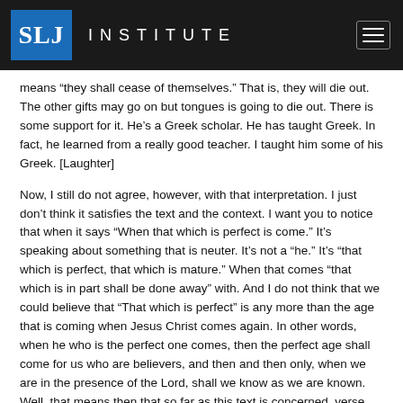SLJ INSTITUTE
means “they shall cease of themselves.” That is, they will die out. The other gifts may go on but tongues is going to die out. There is some support for it. He’s a Greek scholar. He has taught Greek. In fact, he learned from a really good teacher. I taught him some of his Greek. [Laughter]
Now, I still do not agree, however, with that interpretation. I just don’t think it satisfies the text and the context. I want you to notice that when it says “When that which is perfect is come.” It’s speaking about something that is neuter. It’s not a “he.” It’s “that which is perfect, that which is mature.” When that comes “that which is in part shall be done away” with. And I do not think that we could believe that “That which is perfect” is any more than the age that is coming when Jesus Christ comes again. In other words, when he who is the perfect one comes, then the perfect age shall come for us who are believers, and then and then only, when we are in the presence of the Lord, shall we know as we are known. Well, that means then that so far as this text is concerned, verse 10, that